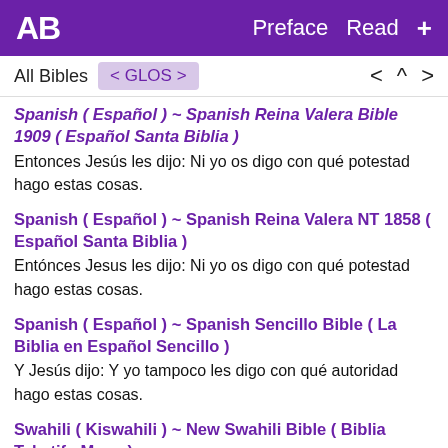AB  Preface  Read  +
All Bibles  < GLOS >  <  ^  >
Spanish ( Español ) ~ Spanish Reina Valera Bible 1909 ( Español Santa Biblia )
Entonces Jesús les dijo: Ni yo os digo con qué potestad hago estas cosas.
Spanish ( Español ) ~ Spanish Reina Valera NT 1858 ( Español Santa Biblia )
Entónces Jesus les dijo: Ni yo os digo con qué potestad hago estas cosas.
Spanish ( Español ) ~ Spanish Sencillo Bible ( La Biblia en Español Sencillo )
Y Jesús dijo: Y yo tampoco les digo con qué autoridad hago estas cosas.
Swahili ( Kiswahili ) ~ New Swahili Bible ( Biblia Takatifu Mpya )